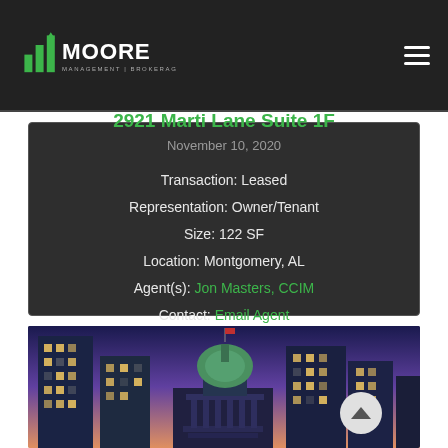[Figure (logo): Moore Management Brokerage Investment logo with bar-chart icon]
2921 Marti Lane Suite 1F
November 10, 2020
Transaction: Leased
Representation: Owner/Tenant
Size: 122 SF
Location: Montgomery, AL
Agent(s): Jon Masters, CCIM
Contact: Email Agent
[Figure (photo): Cityscape of Montgomery, AL at dusk showing buildings and a domed capitol building with purple and orange sky]